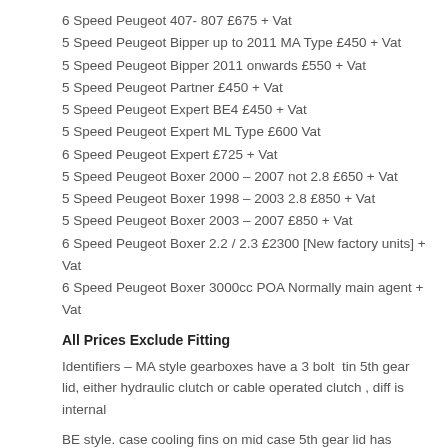6 Speed Peugeot 407- 807 £675  + Vat
5 Speed Peugeot Bipper up to 2011 MA Type £450 + Vat
5 Speed Peugeot Bipper 2011 onwards £550 + Vat
5 Speed Peugeot Partner £450 + Vat
5 Speed Peugeot Expert BE4 £450 + Vat
5 Speed Peugeot Expert ML Type £600 Vat
6 Speed Peugeot Expert £725 + Vat
5 Speed Peugeot Boxer 2000 – 2007 not 2.8 £650 + Vat
5 Speed Peugeot Boxer 1998 – 2003 2.8 £850 + Vat
5 Speed Peugeot Boxer 2003 – 2007 £850 + Vat
6 Speed Peugeot Boxer 2.2 / 2.3 £2300 [New factory units] + Vat
6 Speed Peugeot Boxer 3000cc POA Normally main agent + Vat
All Prices Exclude Fitting
Identifiers – MA style gearboxes have a 3 bolt  tin 5th gear lid, either hydraulic clutch or cable operated clutch , diff is internal
BE style. case cooling fins on mid case 5th gear lid has 11mm bolts and sometime a fill point 17mm or 19mm, Diff is bolt on.